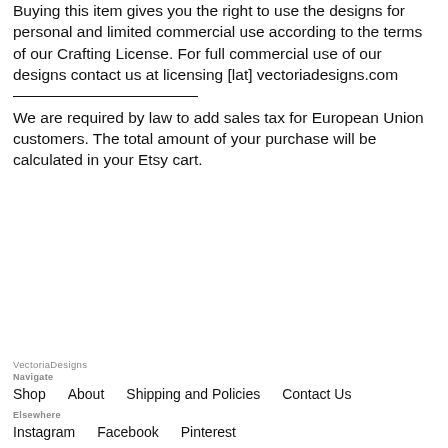Buying this item gives you the right to use the designs for personal and limited commercial use according to the terms of our Crafting License. For full commercial use of our designs contact us at licensing [lat] vectoriadesigns.com
We are required by law to add sales tax for European Union customers. The total amount of your purchase will be calculated in your Etsy cart.
VectoriaDesigns
Navigate
Shop   About   Shipping and Policies   Contact Us
Elsewhere
Instagram   Facebook   Pinterest